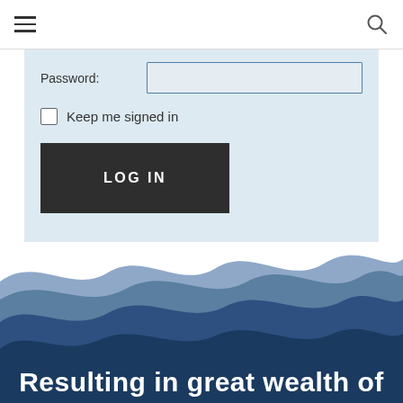[Figure (screenshot): Navigation bar with hamburger menu icon on left and search icon on right]
Password:
[Figure (screenshot): Keep me signed in checkbox with label]
Keep me signed in
LOG IN
[Figure (illustration): Layered blue wave illustration forming an ocean-like background at the bottom of the page]
Resulting in great wealth of